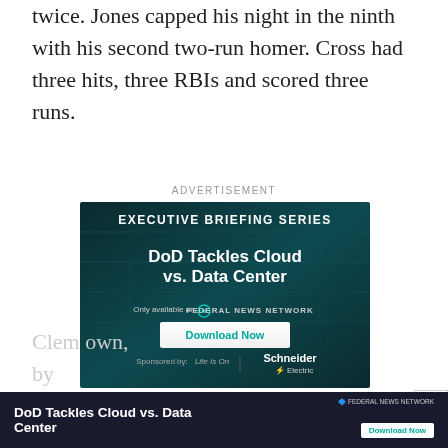twice. Jones capped his night in the ninth with his second two-run homer. Cross had three hits, three RBIs and scored three runs.
ADVERTISEMENT
[Figure (other): Advertisement banner for 'Executive Briefing Series: DoD Tackles Cloud vs. Data Center' on Federal News Network, sponsored by Schneider Electric. Contains a Download Now button.]
[Figure (other): Second smaller advertisement bar showing 'DoD Tackles Cloud vs. Data Center' with Federal News Network logo and Download Now button.]
Clem own, by